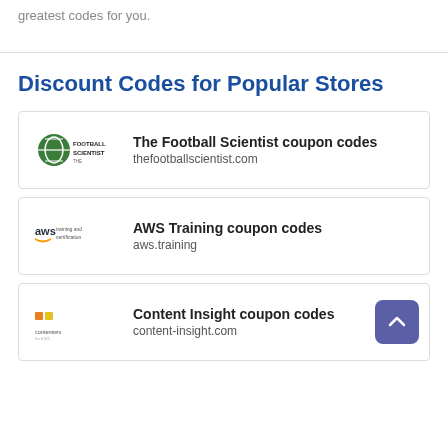greatest codes for you.
Discount Codes for Popular Stores
The Football Scientist coupon codes
thefootballscientist.com
AWS Training coupon codes
aws.training
Content Insight coupon codes
content-insight.com